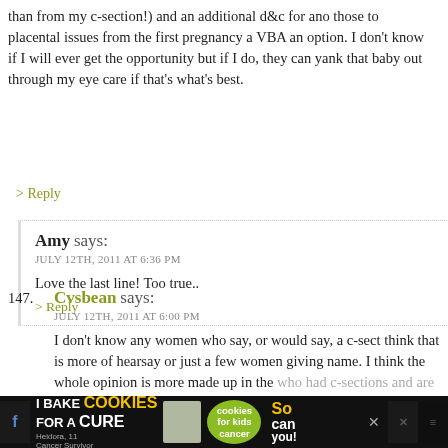than from my c-section!) and an additional d&c for ano those to placental issues from the first pregnancy a VBA an option. I don't know if I will ever get the opportunity but if I do, they can yank that baby out through my eye care if that's what's best.
> Reply
Amy says:
JULY 12TH, 2011 AT 6:36 PM
Love the last line! Too true..
> Reply
147. Cvsbean says:
JULY 12TH, 2011 AT 6:00 PM
I don't know any women who say, or would say, a c-sect think that is more of hearsay or just a few women giving name. I think the whole opinion is more made up in the who had c-sections and are sensitive about it.
[Figure (screenshot): Advertisement bar at bottom: I Bake COOKIES For A CURE with image of girl and badges]